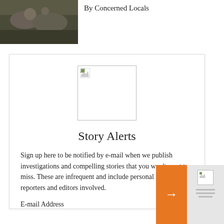[Figure (photo): Dark nature/wildlife photo in top-left corner]
By Concerned Locals
[Figure (other): Broken/missing image placeholder centered in card]
Story Alerts
Sign up here to be notified by e-mail when we publish investigations and compelling stories that you won't want to miss. These are infrequent and include personal insights from reporters and editors involved.
E-mail Address